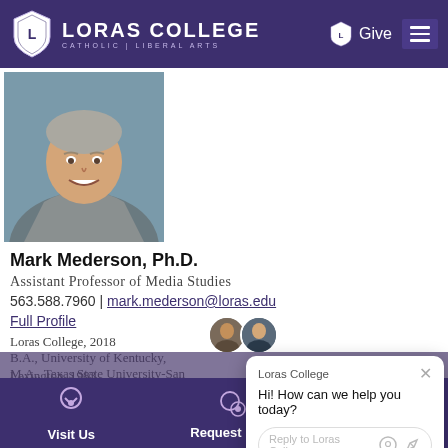Loras College – Catholic | Liberal Arts – Give
[Figure (photo): Headshot of Mark Mederson, Ph.D., smiling man in grey jacket and red collar shirt against an outdoor background]
Mark Mederson, Ph.D.
Assistant Professor of Media Studies
563.588.7960 | mark.mederson@loras.edu
Full Profile
Loras College, 2018
B.A., University of Kentucky, Lexington, 1983
M.A., Texas State University-San Marcos, 2011
Ph.D., UW-Madis…
Loras College
Hi! How can we help you today?
Reply to Loras Colle…
Visit Us | Request Info | Apply